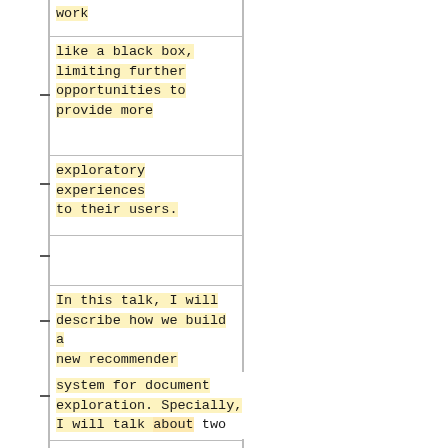work
like a black box, limiting further opportunities to provide more
exploratory experiences to their users.
In this talk, I will describe how we build a new recommender
system for document exploration. Specially, I will talk about two
building blocks of the system in detail. The first is about a new
probabilistic model for document recommendation